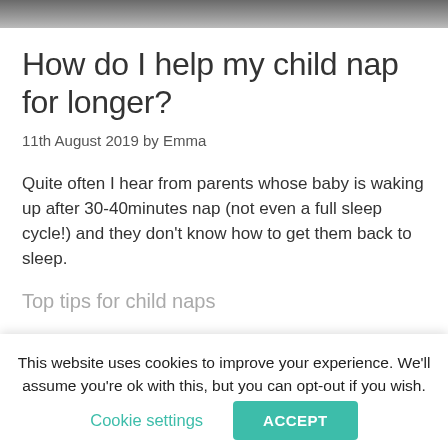[Figure (photo): Partial photo strip at top of page, showing cropped image (person/child)]
How do I help my child nap for longer?
11th August 2019 by Emma
Quite often I hear from parents whose baby is waking up after 30-40minutes nap (not even a full sleep cycle!) and they don't know how to get them back to sleep.
Top tips for child naps
This website uses cookies to improve your experience. We'll assume you're ok with this, but you can opt-out if you wish.
Cookie settings   ACCEPT